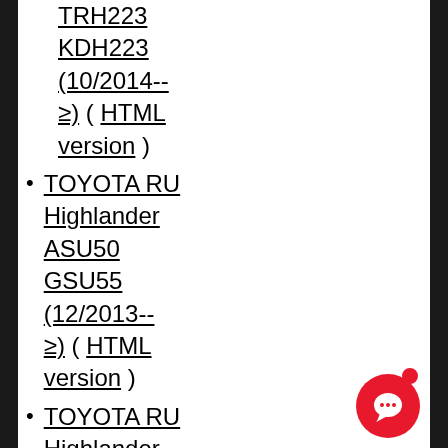TRH223 KDH223 (10/2014-- ≥) ( HTML version )
TOYOTA RU Highlander ASU50 GSU55 (12/2013-- ≥) ( HTML version )
TOYOTA RU Highlander GSU45 GSU40 (05/2007-- ≥) ( HTML version )